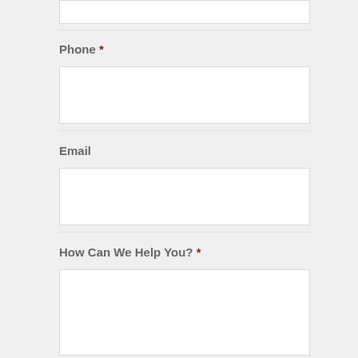Last
Phone *
[Figure (other): Empty text input box for Phone field]
Email
[Figure (other): Empty text input box for Email field]
How Can We Help You? *
[Figure (other): Large empty textarea for How Can We Help You field]